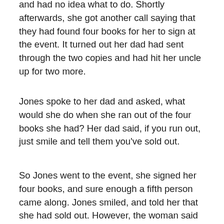and had no idea what to do. Shortly afterwards, she got another call saying that they had found four books for her to sign at the event. It turned out her dad had sent through the two copies and had hit her uncle up for two more.
Jones spoke to her dad and asked, what would she do when she ran out of the four books she had? Her dad said, if you run out, just smile and tell them you've sold out.
So Jones went to the event, she signed her four books, and sure enough a fifth person came along. Jones smiled, and told her that she had sold out. However, the woman said that she had heard Jones was out of print. More than that, she had heard that Jones couldn't get a publisher. Jones said she was so embarrassed.
The woman took her hand, led her across the foyer, and